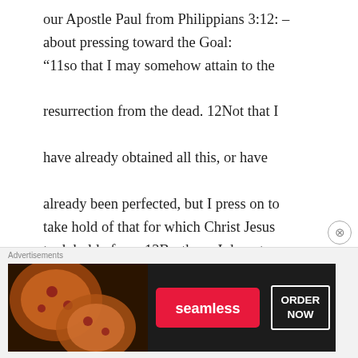our Apostle Paul from Philippians 3:12: – about pressing toward the Goal: “11so that I may somehow attain to the resurrection from the dead. 12Not that I have already obtained all this, or have already been perfected, but I press on to take hold of that for which Christ Jesus took hold of me. 13Brothers, I do not consider myself yet to have laid hold of it. But one thing I do: Forgetting what is behind and straining toward what is
Advertisements
[Figure (screenshot): Seamless food delivery advertisement banner showing pizza on the left, a red Seamless logo button in the center, and an ORDER NOW button on the right, on a dark background.]